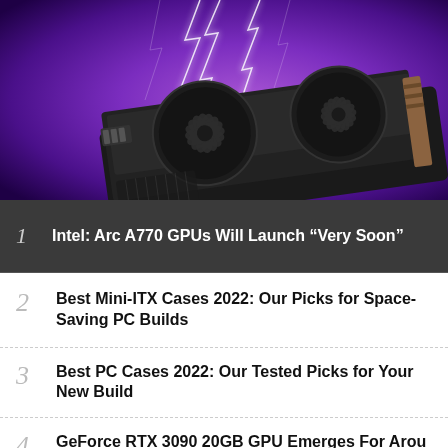[Figure (photo): Intel Arc A770 GPU graphics card with dual fans shown against a purple glowing background with lightning effects]
1 Intel: Arc A770 GPUs Will Launch “Very Soon”
2 Best Mini-ITX Cases 2022: Our Picks for Space-Saving PC Builds
3 Best PC Cases 2022: Our Tested Picks for Your New Build
4 GeForce RTX 3090 20GB GPU Emerges For Around...